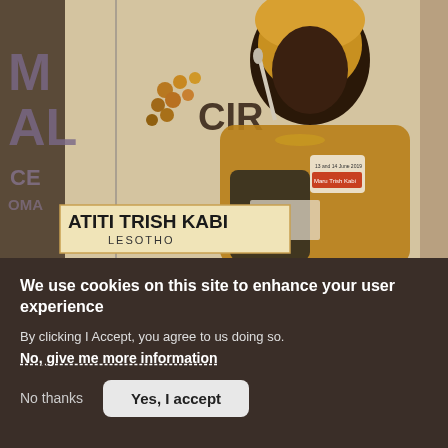[Figure (photo): A woman wearing a golden/yellow traditional African outfit and headwrap sits at a conference table. A nameplate in the foreground reads 'ATITI TRISH KABI / LESOTHO'. Conference branding with 'CIR' logo is visible in the background.]
We use cookies on this site to enhance your user experience
By clicking I Accept, you agree to us doing so.
No, give me more information
No thanks
Yes, I accept